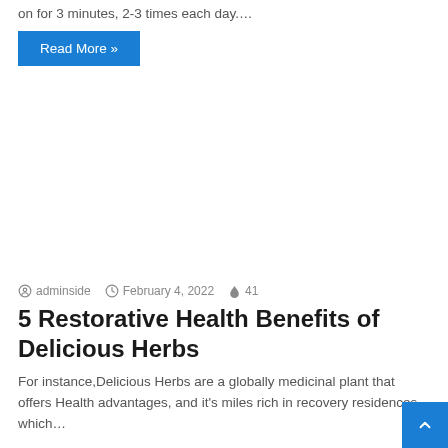on for 3 minutes, 2-3 times each day.…
Read More »
adminside  February 4, 2022  41
5 Restorative Health Benefits of Delicious Herbs
For instance,Delicious Herbs are a globally medicinal plant that offers Health advantages, and it's miles rich in recovery residences, which…